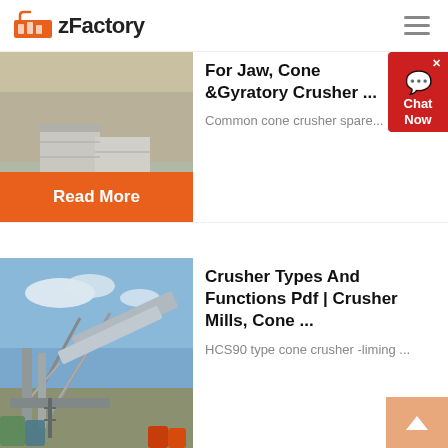zFactory
[Figure (photo): Quarry or mining site with concrete infrastructure and rocks]
For Jaw, Cone &Gyratory Crusher ...
Common cone crusher spare...
Read More
[Figure (photo): Industrial crusher or conveyor facility with metal framework and blue sky]
Crusher Types And Functions Pdf | Crusher Mills, Cone ...
HCS90 type cone crusher -liming ...